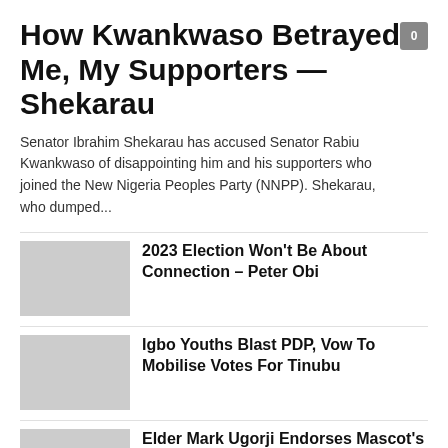How Kwankwaso Betrayed Me, My Supporters — Shekarau
Senator Ibrahim Shekarau has accused Senator Rabiu Kwankwaso of disappointing him and his supporters who joined the New Nigeria Peoples Party (NNPP). Shekarau, who dumped...
2023 Election Won't Be About Connection – Peter Obi
Igbo Youths Blast PDP, Vow To Mobilise Votes For Tinubu
Elder Mark Ugorji Endorses Mascot's Candidacy As He Joins APP In...
Tension Grips Abia PDP As Ikechi Emenike Finally...